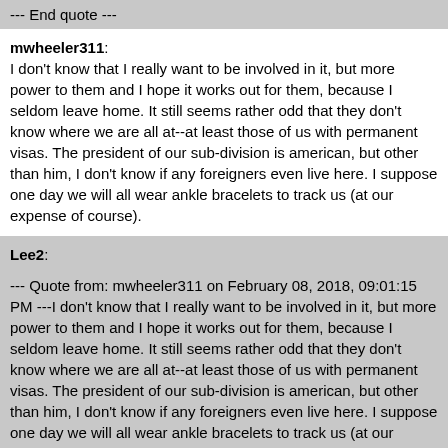--- End quote ---
mwheeler311: I don't know that I really want to be involved in it, but more power to them and I hope it works out for them, because I seldom leave home. It still seems rather odd that they don't know where we are all at--at least those of us with permanent visas. The president of our sub-division is american, but other than him, I don't know if any foreigners even live here. I suppose one day we will all wear ankle bracelets to track us (at our expense of course).
Lee2:
--- Quote from: mwheeler311 on February 08, 2018, 09:01:15 PM ---I don't know that I really want to be involved in it, but more power to them and I hope it works out for them, because I seldom leave home. It still seems rather odd that they don't know where we are all at--at least those of us with permanent visas. The president of our sub-division is american, but other than him, I don't know if any foreigners even live here. I suppose one day we will all wear ankle bracelets to track us (at our expense of course).
--- End quote ---
I do not think we will have a choice. I believe most foreigners who live in the Philippines do so on tourist visas and that the acr card is